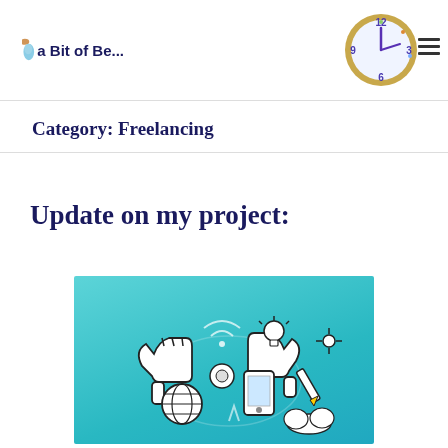[Figure (illustration): Blog header with a blue blob/liquid shape on the left and a colorful illustrated clock on the right, with a hamburger menu icon]
a Bit of Be...
Category: Freelancing
Update on my project:
[Figure (illustration): Illustration on a teal/turquoise background showing a chaotic pile of doodle-style objects including hands giving thumbs up, a globe, various tech and creative items drawn in black and white sketch style]